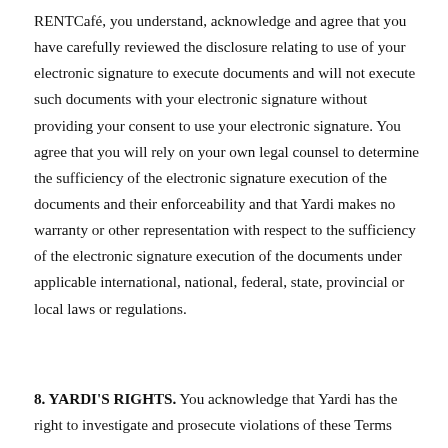RENTCafé, you understand, acknowledge and agree that you have carefully reviewed the disclosure relating to use of your electronic signature to execute documents and will not execute such documents with your electronic signature without providing your consent to use your electronic signature. You agree that you will rely on your own legal counsel to determine the sufficiency of the electronic signature execution of the documents and their enforceability and that Yardi makes no warranty or other representation with respect to the sufficiency of the electronic signature execution of the documents under applicable international, national, federal, state, provincial or local laws or regulations.
8. YARDI'S RIGHTS. You acknowledge that Yardi has the right to investigate and prosecute violations of these Terms